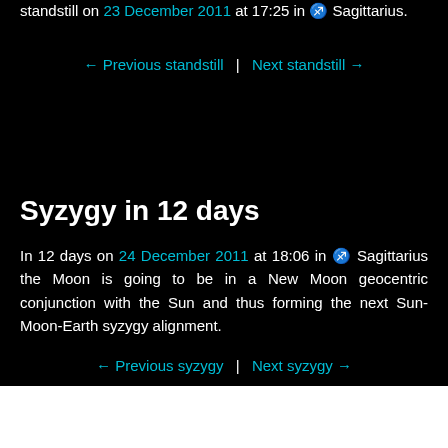standstill on 23 December 2011 at 17:25 in ♐ Sagittarius.
← Previous standstill  |  Next standstill →
Syzygy in 12 days
In 12 days on 24 December 2011 at 18:06 in ♐ Sagittarius the Moon is going to be in a New Moon geocentric conjunction with the Sun and thus forming the next Sun-Moon-Earth syzygy alignment.
← Previous syzygy  |  Next syzygy →
Share this page: